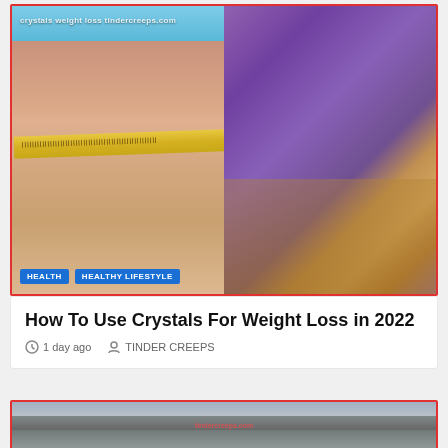[Figure (photo): Two-panel image: left shows a person's midsection with a measuring tape, with tags 'HEALTH' and 'HEALTHY LIFESTYLE'. Watermark reads 'crystals weight loss tindercreeps.com'. Right panel shows purple amethyst crystals in a wicker basket.]
How To Use Crystals For Weight Loss in 2022
1 day ago   TINDER CREEPS
[Figure (photo): Partial image of a car accident scene showing a damaged white car and a large truck, with a person standing nearby. Watermark 'tindercreeps.com' visible.]